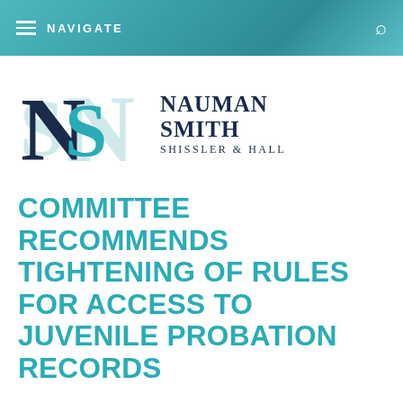NAVIGATE
[Figure (logo): Nauman Smith Shissler & Hall law firm logo with interlocking N and S lettermark in dark navy and teal, alongside firm name text]
COMMITTEE RECOMMENDS TIGHTENING OF RULES FOR ACCESS TO JUVENILE PROBATION RECORDS